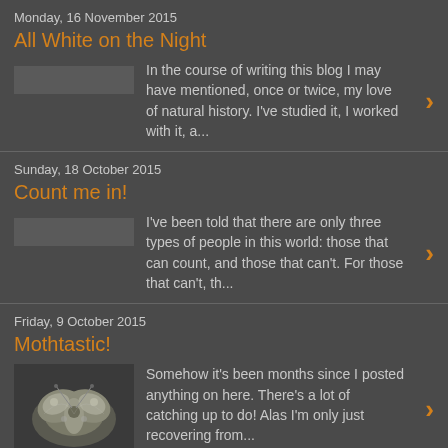Monday, 16 November 2015
All White on the Night
In the course of writing this blog I may have mentioned, once or twice, my love of natural history. I've studied it, I worked with it, a...
Sunday, 18 October 2015
Count me in!
I've been told that there are only three types of people in this world: those that can count, and those that can't. For those that can't, th...
Friday, 9 October 2015
Mothtastic!
Somehow it's been months since I posted anything on here. There's a lot of catching up to do! Alas I'm only just recovering from...
2 comments: